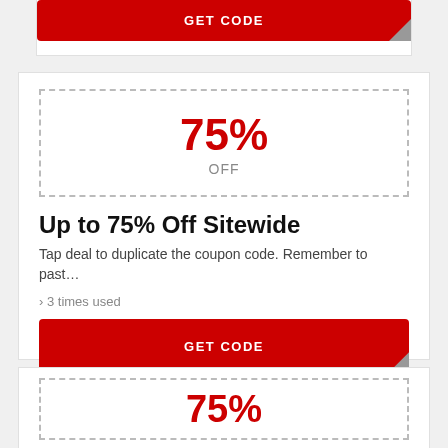[Figure (screenshot): Partial coupon card showing GET CODE red button at top]
[Figure (screenshot): Coupon card showing 75% OFF discount badge in dashed box, title 'Up to 75% Off Sitewide', description text, '3 times used' usage count, and red GET CODE button]
[Figure (screenshot): Partial coupon card at bottom showing 75% in red text inside dashed border box]